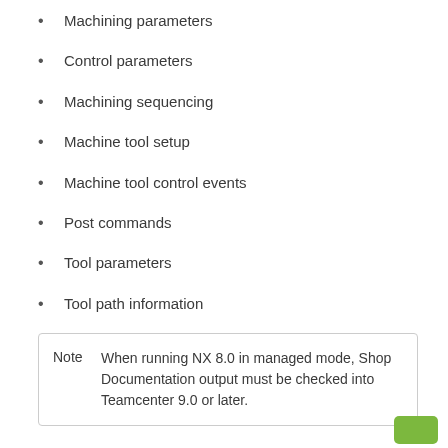Machining parameters
Control parameters
Machining sequencing
Machine tool setup
Machine tool control events
Post commands
Tool parameters
Tool path information
Note  When running NX 8.0 in managed mode, Shop Documentation output must be checked into Teamcenter 9.0 or later.